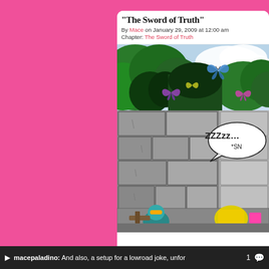“The Sword of Truth”
By Mace on January 29, 2009 at 12:00 am
Chapter: The Sword of Truth
[Figure (illustration): A comic panel showing a stone castle wall with colorful butterflies flying above in a green forest. A speech bubble reads 'ZZZzz...' and '*SN' is partially visible. At the bottom, cartoon characters are shown near a yellow object.]
macepaladino: And also, a setup for a lowroad joke, unfor  1